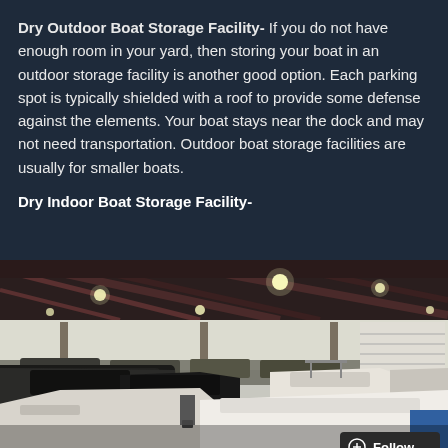Dry Outdoor Boat Storage Facility- If you do not have enough room in your yard, then storing your boat in an outdoor storage facility is another good option. Each parking spot is typically shielded with a roof to provide some defense against the elements. Your boat stays near the dock and may not need transportation. Outdoor boat storage facilities are usually for smaller boats.
Dry Indoor Boat Storage Facility-
[Figure (photo): Interior of a large dry indoor boat storage facility showing numerous boats of various sizes stored on the ground inside a large metal building with high ceilings and industrial lighting.]